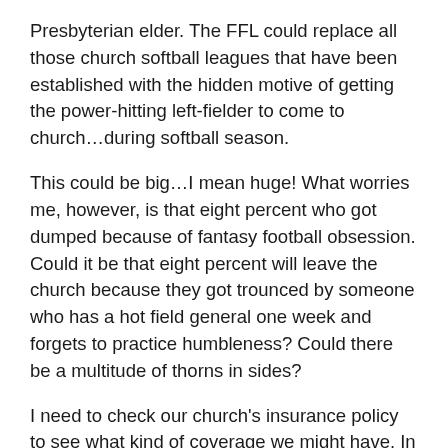Presbyterian elder. The FFL could replace all those church softball leagues that have been established with the hidden motive of getting the power-hitting left-fielder to come to church…during softball season.
This could be big…I mean huge! What worries me, however, is that eight percent who got dumped because of fantasy football obsession. Could it be that eight percent will leave the church because they got trounced by someone who has a hot field general one week and forgets to practice humbleness? Could there be a multitude of thorns in sides?
I need to check our church's insurance policy to see what kind of coverage we might have. In the meantime I need to be thinking about a kicker. I was leaning towards Balaam's donkey, but he has a reputation for veering to the right!